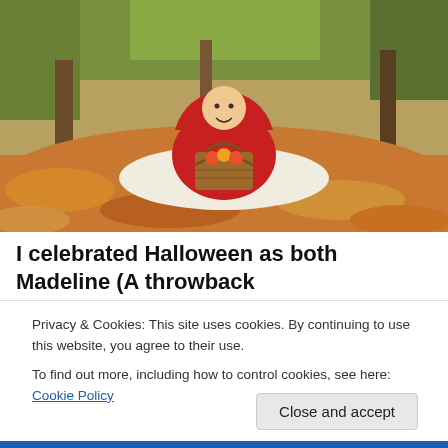[Figure (photo): A young child dressed in a red cape costume (Little Red Riding Hood) sitting on a white blanket surrounded by autumn leaves, holding a wicker picnic basket, with trees in the background.]
I celebrated Halloween as both Madeline (A throwback
Privacy & Cookies: This site uses cookies. By continuing to use this website, you agree to their use.
To find out more, including how to control cookies, see here: Cookie Policy